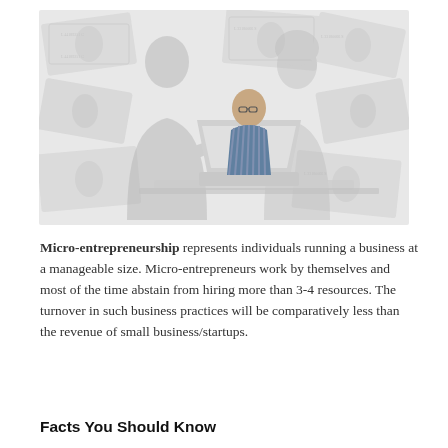[Figure (photo): A person sitting at a desk with a laptop, with silhouettes of two people shaking hands in the background, and scattered dollar bills/money in the background. The image has a light gray and muted color palette.]
Micro-entrepreneurship represents individuals running a business at a manageable size. Micro-entrepreneurs work by themselves and most of the time abstain from hiring more than 3-4 resources. The turnover in such business practices will be comparatively less than the revenue of small business/startups.
Facts You Should Know